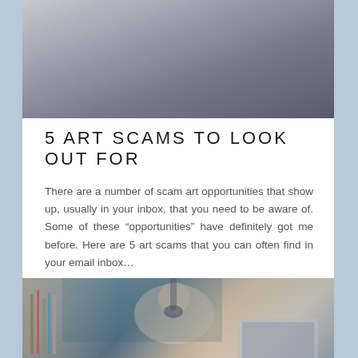[Figure (photo): Blurred close-up photo, appears to be an abstract or artistic shot with dark and grey tones]
5 ART SCAMS TO LOOK OUT FOR
There are a number of scam art opportunities that show up, usually in your inbox, that you need to be aware of. Some of these "opportunities" have definitely got me before. Here are 5 art scams that you can often find in your email inbox...
[Figure (photo): Young woman with dark hair and glasses holding a smartphone, sitting at a desk with a laptop, with art supplies in the background]